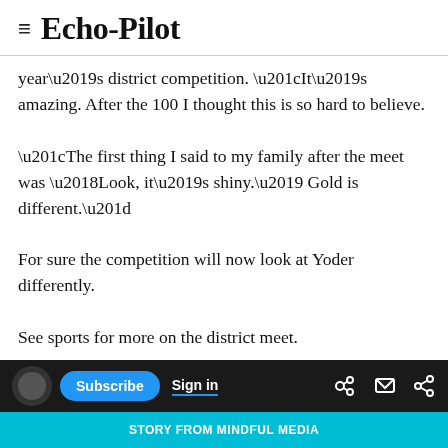≡ Echo-Pilot
year's district competition. “It’s amazing. After the 100 I thought this is so hard to believe.
“The first thing I said to my family after the meet was ‘Look, it’s shiny.’ Gold is different.”
For sure the competition will now look at Yoder differently.
See sports for more on the district meet.
“Really, for all my career I’ve kind of been under the radar,” said Yoder, who started running for the Blue Devils in middle school.
Subscribe  Sign in  STORY FROM MINDFUL MEDIA